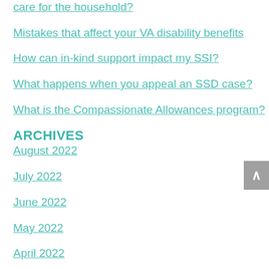care for the household?
Mistakes that affect your VA disability benefits
How can in-kind support impact my SSI?
What happens when you appeal an SSD case?
What is the Compassionate Allowances program?
ARCHIVES
August 2022
July 2022
June 2022
May 2022
April 2022
March 2022